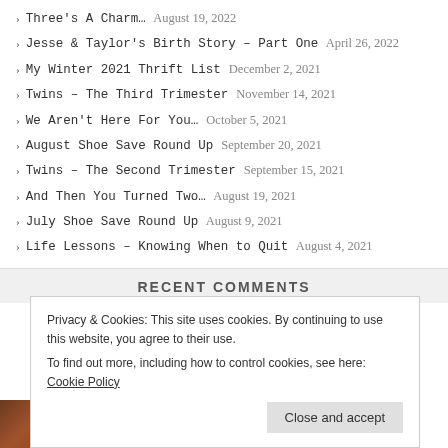Three's A Charm… August 19, 2022
Jesse & Taylor's Birth Story – Part One April 26, 2022
My Winter 2021 Thrift List December 2, 2021
Twins – The Third Trimester November 14, 2021
We Aren't Here For You… October 5, 2021
August Shoe Save Round Up September 20, 2021
Twins – The Second Trimester September 15, 2021
And Then You Turned Two… August 19, 2021
July Shoe Save Round Up August 9, 2021
Life Lessons – Knowing When to Quit August 4, 2021
RECENT COMMENTS
Privacy & Cookies: This site uses cookies. By continuing to use this website, you agree to their use. To find out more, including how to control cookies, see here: Cookie Policy
Close and accept